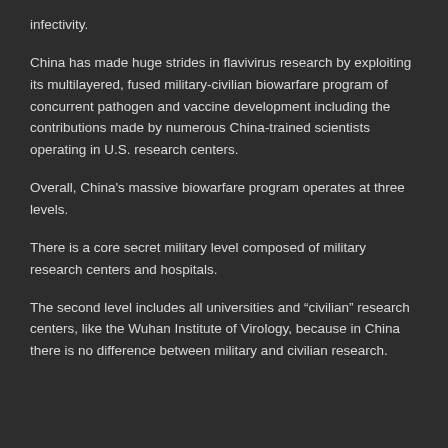infectivity.
China has made huge strides in flavivirus research by exploiting its multilayered, fused military-civilian biowarfare program of concurrent pathogen and vaccine development including the contributions made by numerous China-trained scientists operating in U.S. research centers.
Overall, China's massive biowarfare program operates at three levels.
There is a core secret military level composed of military research centers and hospitals.
The second level includes all universities and “civilian” research centers, like the Wuhan Institute of Virology, because in China there is no difference between military and civilian research.